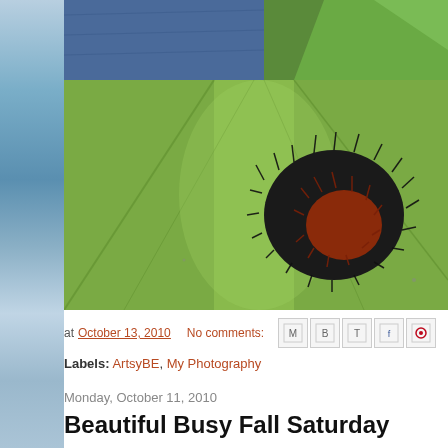[Figure (photo): Macro photo of a woolly bear caterpillar (black and red-brown fuzzy) resting on a green leaf, with a partial photo of denim/green plant visible at top]
at October 13, 2010   No comments:
Labels: ArtsyBE, My Photography
Monday, October 11, 2010
Beautiful Busy Fall Saturday
Another busy soccer Saturday morning. It was sunny and crisp this